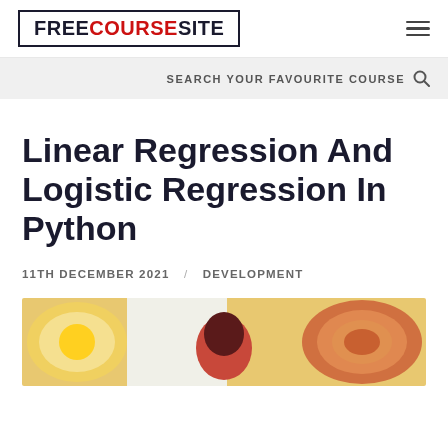FREECOURSESITE
SEARCH YOUR FAVOURITE COURSE
Linear Regression And Logistic Regression In Python
11TH DECEMBER 2021 / DEVELOPMENT
[Figure (photo): Decorative image related to the course, showing colorful food items on plates]